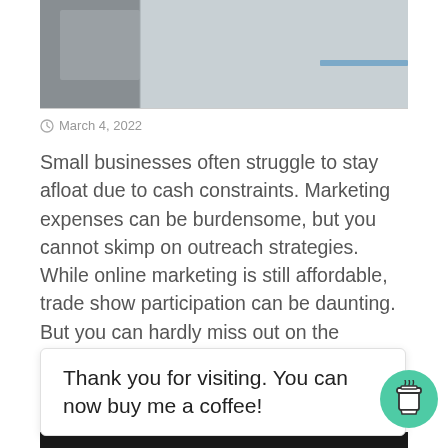[Figure (photo): Partial photo of what appears to be office/desk items, cropped at top of page]
March 4, 2022
Small businesses often struggle to stay afloat due to cash constraints. Marketing expenses can be burdensome, but you cannot skimp on outreach strategies. While online marketing is still affordable, trade show participation can be daunting. But you can hardly miss out on the targeted … Read More »
Thank you for visiting. You can now buy me a coffee!
[Figure (photo): Partial dark photo visible at bottom edge of page]